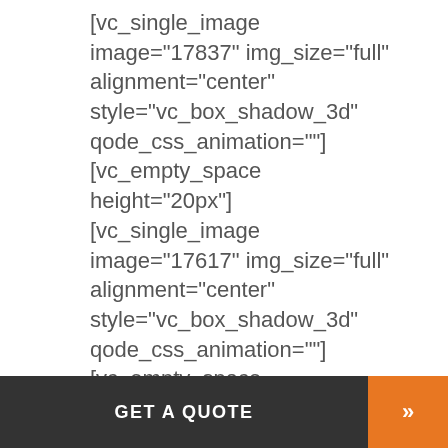[vc_single_image image="17837" img_size="full" alignment="center" style="vc_box_shadow_3d" qode_css_animation=""] [vc_empty_space height="20px"] [vc_single_image image="17617" img_size="full" alignment="center" style="vc_box_shadow_3d" qode_css_animation=""] [vc_empty_space height="20px" type="normal
GET A QUOTE »